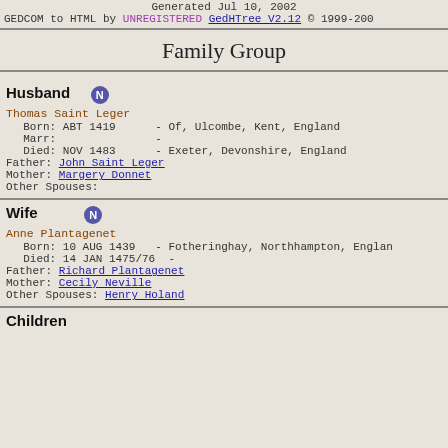Generated Jul 10, 2002
GEDCOM to HTML by UNREGISTERED GedHTree V2.12 © 1999-200
Family Group
Husband
Thomas Saint Leger
  Born: ABT 1419      - Of, Ulcombe, Kent, England
  Marr:               -
  Died: NOV 1483      - Exeter, Devonshire, England
Father: John Saint Leger
Mother: Margery Donnet
Other Spouses:
Wife
Anne Plantagenet
  Born: 10 AUG 1439  - Fotheringhay, Northhampton, England
  Died: 14 JAN 1475/76  -
Father: Richard Plantagenet
Mother: Cecily Neville
Other Spouses: Henry Holand
Children